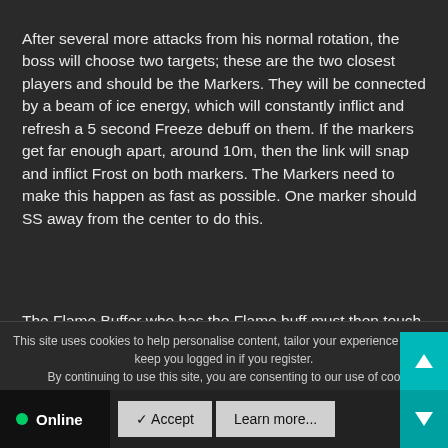After several more attacks from his normal rotation, the boss will choose two targets; these are the two closest players and should be the Markers. They will be connected by a beam of ice energy, which will constantly inflict and refresh a 5 second Freeze debuff on them. If the markers get far enough apart, around 10m, then the link will snap and inflict Frost on both markers. The Markers need to make this happen as fast as possible. One marker should SS away from the center to do this.
The Flame Buffer who has the Flame buff must then touch one of the frozen Markers. This will defrost them and transfer the
This site uses cookies to help personalise content, tailor your experience and to keep you logged in if you register.
By continuing to use this site, you are consenting to our use of coo
Online
✓ Accept
Learn more...